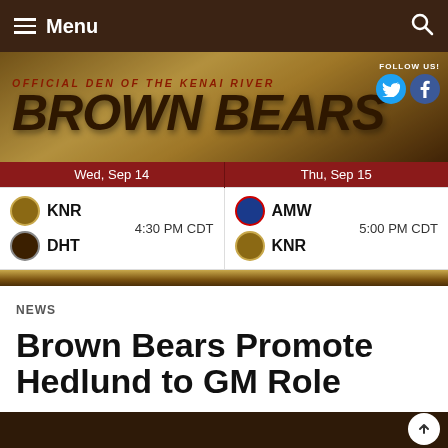≡ Menu
[Figure (illustration): Brown Bears official den banner with logo text 'BROWN BEARS', subtitle 'OFFICIAL DEN OF THE KENAI RIVER', and social media follow icons for Twitter and Facebook]
| Wed, Sep 14 | Thu, Sep 15 |
| --- | --- |
| KNR vs DHT — 4:30 PM CDT | AMW vs KNR — 5:00 PM CDT |
NEWS
Brown Bears Promote Hedlund to GM Role
November 29, 2019